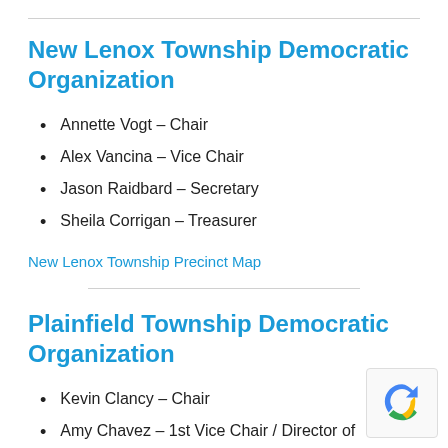New Lenox Township Democratic Organization
Annette Vogt – Chair
Alex Vancina – Vice Chair
Jason Raidbard – Secretary
Sheila Corrigan – Treasurer
New Lenox Township Precinct Map
Plainfield Township Democratic Organization
Kevin Clancy – Chair
Amy Chavez – 1st Vice Chair / Director of